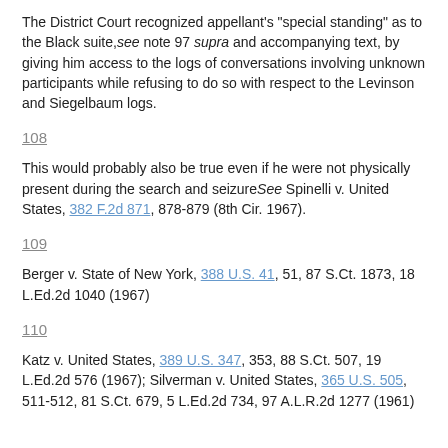The District Court recognized appellant's "special standing" as to the Black suite, see note 97 supra and accompanying text, by giving him access to the logs of conversations involving unknown participants while refusing to do so with respect to the Levinson and Siegelbaum logs.
108
This would probably also be true even if he were not physically present during the search and seizure See Spinelli v. United States, 382 F.2d 871, 878-879 (8th Cir. 1967).
109
Berger v. State of New York, 388 U.S. 41, 51, 87 S.Ct. 1873, 18 L.Ed.2d 1040 (1967)
110
Katz v. United States, 389 U.S. 347, 353, 88 S.Ct. 507, 19 L.Ed.2d 576 (1967); Silverman v. United States, 365 U.S. 505, 511-512, 81 S.Ct. 679, 5 L.Ed.2d 734, 97 A.L.R.2d 1277 (1961)